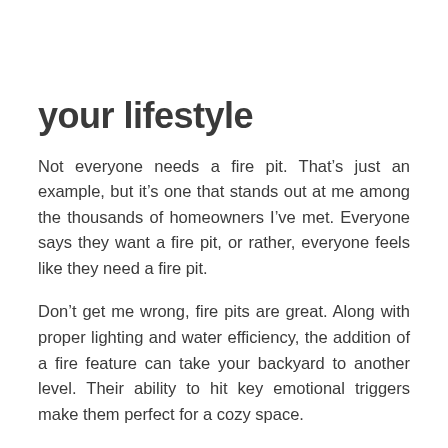your lifestyle
Not everyone needs a fire pit. That’s just an example, but it’s one that stands out at me among the thousands of homeowners I’ve met. Everyone says they want a fire pit, or rather, everyone feels like they need a fire pit.
Don’t get me wrong, fire pits are great. Along with proper lighting and water efficiency, the addition of a fire feature can take your backyard to another level. Their ability to hit key emotional triggers make them perfect for a cozy space.
However, you should not be spending thousands of dollars for a yard that has no use in your everyday life.